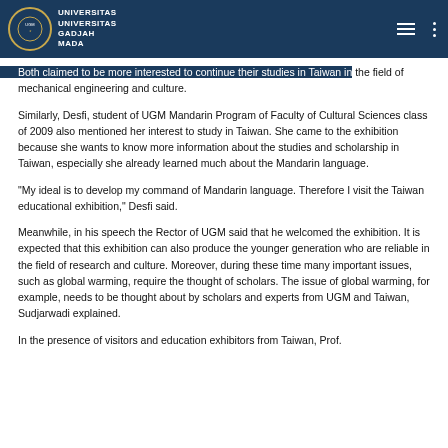UNIVERSITAS GADJAH MADA
Both claimed to be more interested to continue their studies in Taiwan in the field of mechanical engineering and culture.
Similarly, Desfi, student of UGM Mandarin Program of Faculty of Cultural Sciences class of 2009 also mentioned her interest to study in Taiwan. She came to the exhibition because she wants to know more information about the studies and scholarship in Taiwan, especially she already learned much about the Mandarin language.
"My ideal is to develop my command of Mandarin language. Therefore I visit the Taiwan educational exhibition," Desfi said.
Meanwhile, in his speech the Rector of UGM said that he welcomed the exhibition. It is expected that this exhibition can also produce the younger generation who are reliable in the field of research and culture. Moreover, during these time many important issues, such as global warming, require the thought of scholars. The issue of global warming, for example, needs to be thought about by scholars and experts from UGM and Taiwan, Sudjarwadi explained.
In the presence of visitors and education exhibitors from Taiwan, Prof.